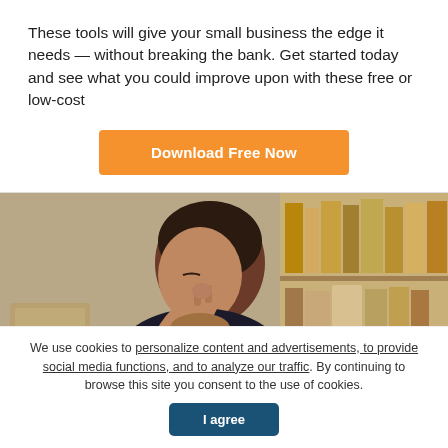These tools will give your small business the edge it needs — without breaking the bank. Get started today and see what you could improve upon with these free or low-cost
Download Free Now
[Figure (photo): Woman with dark hair, eyes closed, pinching the bridge of her nose with her hand, appearing stressed or tired. Behind her is a bookshelf with books and storage boxes.]
We use cookies to personalize content and advertisements, to provide social media functions, and to analyze our traffic. By continuing to browse this site you consent to the use of cookies.
I agree